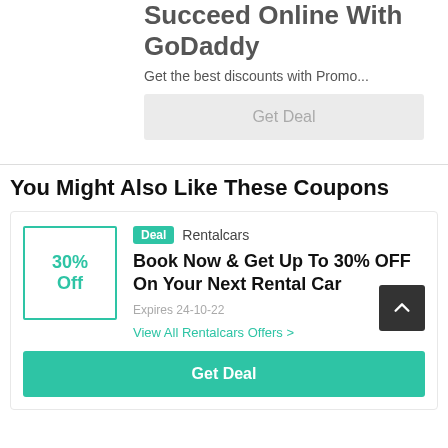Succeed Online With GoDaddy
Get the best discounts with Promo...
Get Deal
You Might Also Like These Coupons
30% Off
Deal  Rentalcars
Book Now & Get Up To 30% OFF On Your Next Rental Car
Expires 24-10-22
View All Rentalcars Offers >
Get Deal